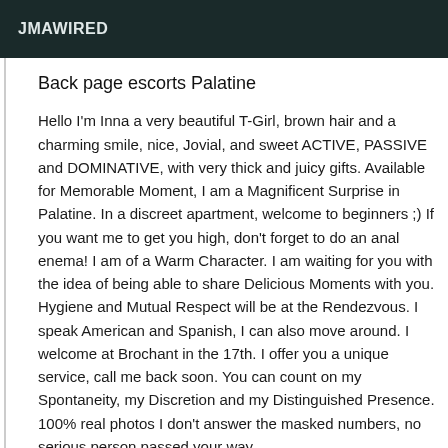JMAWIRED
Back page escorts Palatine
Hello I'm Inna a very beautiful T-Girl, brown hair and a charming smile, nice, Jovial, and sweet ACTIVE, PASSIVE and DOMINATIVE, with very thick and juicy gifts. Available for Memorable Moment, I am a Magnificent Surprise in Palatine. In a discreet apartment, welcome to beginners ;) If you want me to get you high, don't forget to do an anal enema! I am of a Warm Character. I am waiting for you with the idea of being able to share Delicious Moments with you. Hygiene and Mutual Respect will be at the Rendezvous. I speak American and Spanish, I can also move around. I welcome at Brochant in the 17th. I offer you a unique service, call me back soon. You can count on my Spontaneity, my Discretion and my Distinguished Presence. 100% real photos I don't answer the masked numbers, no serious person passed your way.